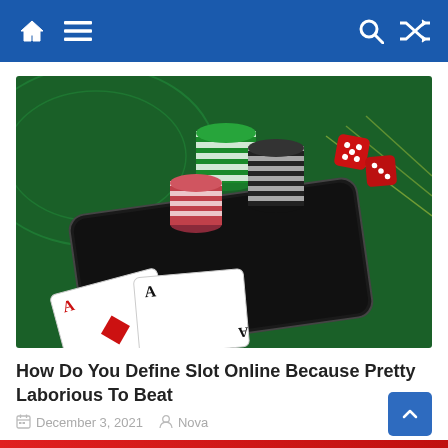Navigation bar with home, menu, search, and shuffle icons
[Figure (photo): Casino chips (green, pink/red, black stacks) and playing cards (aces) on a dark tablet device placed on a green casino felt table, with red dice visible in the background]
How Do You Define Slot Online Because Pretty Laborious To Beat
December 3, 2021  Nova